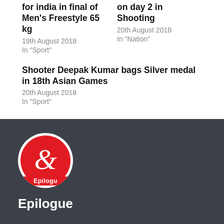for india in final of Men's Freestyle 65 kg
19th August 2018
In "Sport"
on day 2 in Shooting
20th August 2018
In "Nation"
Shooter Deepak Kumar bags Silver medal in 18th Asian Games
20th August 2018
In "Sport"
[Figure (logo): Epilogue logo: white circle containing red circle with stylized ampersand/epsilon symbol in white, with 'Epilogu' text at bottom of circle]
Epilogue